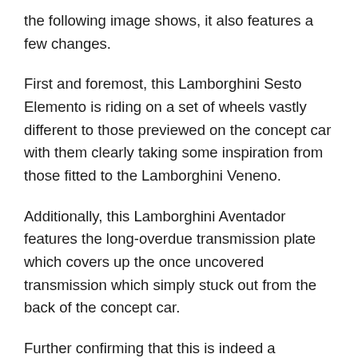the following image shows, it also features a few changes.
First and foremost, this Lamborghini Sesto Elemento is riding on a set of wheels vastly different to those previewed on the concept car with them clearly taking some inspiration from those fitted to the Lamborghini Veneno.
Additionally, this Lamborghini Aventador features the long-overdue transmission plate which covers up the once uncovered transmission which simply stuck out from the back of the concept car.
Further confirming that this is indeed a production-spec Lamborghini Sesto Elemento is the fact that it has a German licence plate at the rear!
As a quick refresher, the Lamborghini Sesto Elemento is...